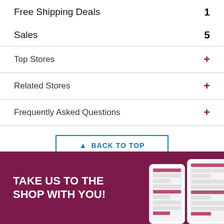Free Shipping Deals   1
Sales   5
Top Stores   +
Related Stores   +
Frequently Asked Questions   +
BACK TO TOP
TAKE US TO THE SHOP WITH YOU!